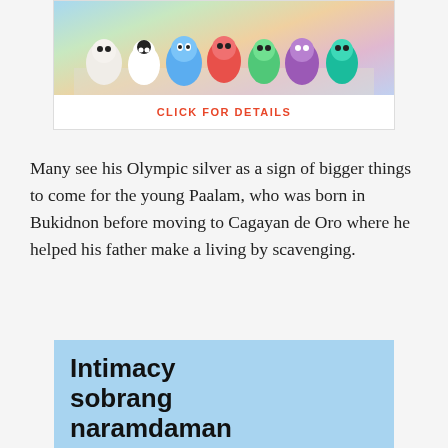[Figure (photo): Photo of colorful mascot characters at an outdoor venue, with buildings in background]
CLICK FOR DETAILS
Many see his Olympic silver as a sign of bigger things to come for the young Paalam, who was born in Bukidnon before moving to Cagayan de Oro where he helped his father make a living by scavenging.
[Figure (photo): Advertisement image with light blue background showing bold text 'Intimacy sobrang naramdaman habang nakabakasyon' with a woman's face partially visible at the bottom]